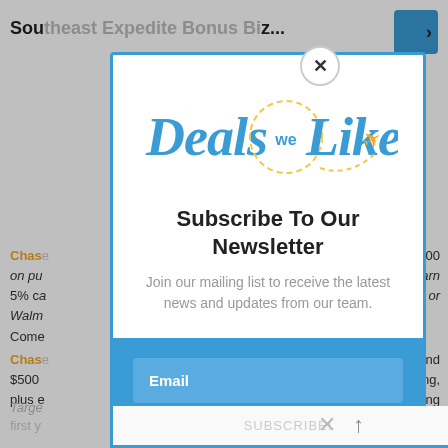Southwest Expedite Bonus Biz...
Chase ... 500 on pu... s earn 5% ca... ® or Walm... Come...
Chase ... end $500 ... ng, plus e... fing
[Figure (screenshot): Newsletter subscription modal popup for 'Deals We Like' brand with blue border, logo at top, subscribe title, subtitle text, and email input field on blue background]
Subscribe To Our Newsletter
Join our mailing list to receive the latest news and updates from our team.
Email